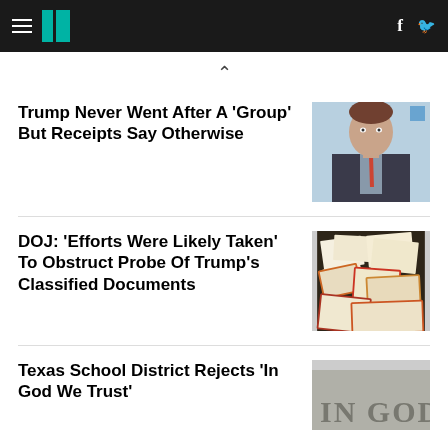HuffPost navigation with hamburger menu, logo, Facebook and Twitter icons
Trump Never Went After A 'Group' But Receipts Say Otherwise
[Figure (photo): Headshot of a man in a dark suit with a red tie, shown from shoulders up]
DOJ: 'Efforts Were Likely Taken' To Obstruct Probe Of Trump's Classified Documents
[Figure (photo): Photograph of scattered classified documents with red and yellow borders on a patterned surface]
Texas School District Rejects 'In God We Trust'
[Figure (photo): Stone or concrete surface with carved letters reading IN GOD (partial)]